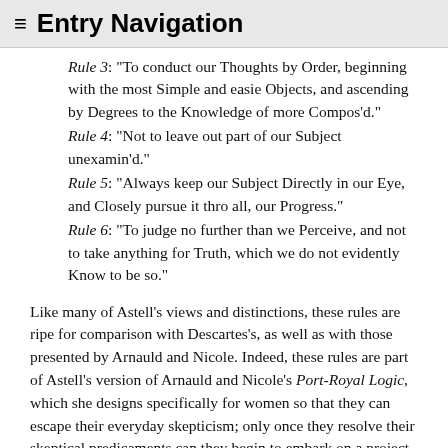≡ Entry Navigation
Rule 3: "To conduct our Thoughts by Order, beginning with the most Simple and easie Objects, and ascending by Degrees to the Knowledge of more Compos'd."
Rule 4: "Not to leave out part of our Subject unexamin'd."
Rule 5: "Always keep our Subject Directly in our Eye, and Closely pursue it thro all, our Progress."
Rule 6: "To judge no further than we Perceive, and not to take anything for Truth, which we do not evidently Know to be so."
Like many of Astell's views and distinctions, these rules are ripe for comparison with Descartes's, as well as with those presented by Arnauld and Nicole. Indeed, these rules are part of Astell's version of Arnauld and Nicole's Port-Royal Logic, which she designs specifically for women so that they can escape their everyday skepticism; only once they resolve their skeptical predicaments can they begin to embark on a project of reflection involving